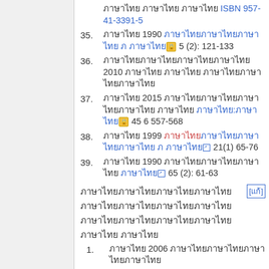ภาษาไทย ISBN 957-41-3391-5
35. ภาษาไทย 1990 ภาษาไทยภาษาไทย 🔒 ภาษาไทย 5 (2): 121-133
36. ภาษาไทยภาษาไทยภาษาไทย 2010 ภาษาไทย ภาษาไทย ภาษาไทยภาษาไทย
37. ภาษาไทย 2015 ภาษาไทยภาษาไทยภาษาไทย ภาษาไทย ภาษาไทย:ภาษาไทย 🔒 45 6 557-568
38. ภาษาไทย 1999 ภาษาไทยภาษาไทยภาษาไทย ภาษาไทย 🔗 21(1) 65-76
39. ภาษาไทย 1990 ภาษาไทยภาษาไทย ภาษาไทย 🔗 65 (2): 61-63
ภาษาไทยภาษาไทยภาษาไทยภาษาไทยภาษาไทยภาษาไทยภาษาไทย [แก้]
1. ภาษาไทย 2006 ภาษาไทยภาษาไทยภาษาไทย